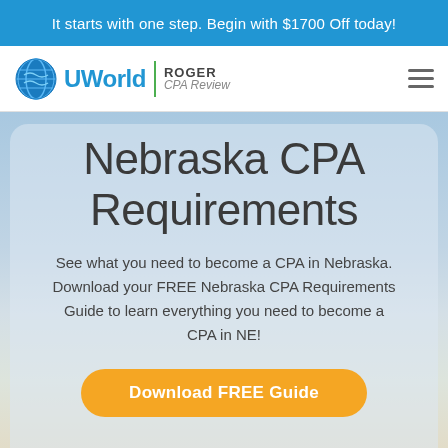It starts with one step. Begin with $1700 Off today!
[Figure (logo): UWorld Roger CPA Review logo with globe icon, green divider, and hamburger menu]
Nebraska CPA Requirements
See what you need to become a CPA in Nebraska. Download your FREE Nebraska CPA Requirements Guide to learn everything you need to become a CPA in NE!
Download FREE Guide